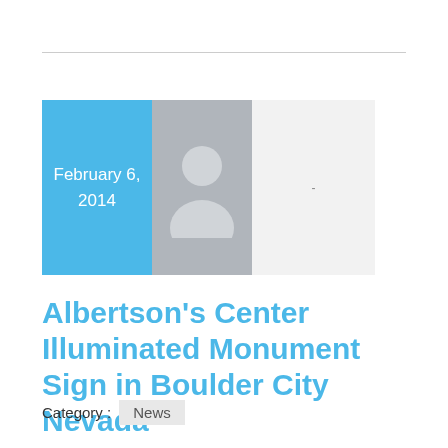[Figure (illustration): Blue date box showing February 6, 2014 alongside a gray avatar/person placeholder icon and a light gray box with a dash]
Albertson's Center Illuminated Monument Sign in Boulder City Nevada
Category :  News